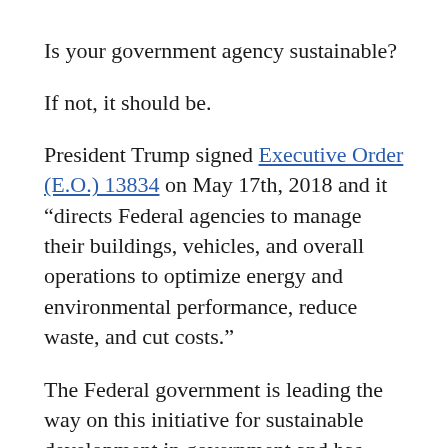Is your government agency sustainable?
If not, it should be.
President Trump signed Executive Order (E.O.) 13834 on May 17th, 2018 and it “directs Federal agencies to manage their buildings, vehicles, and overall operations to optimize energy and environmental performance, reduce waste, and cut costs.”
The Federal government is leading the way on this initiative for sustainable development in government and has achieved substantial energy savings (which we’ll review later in this